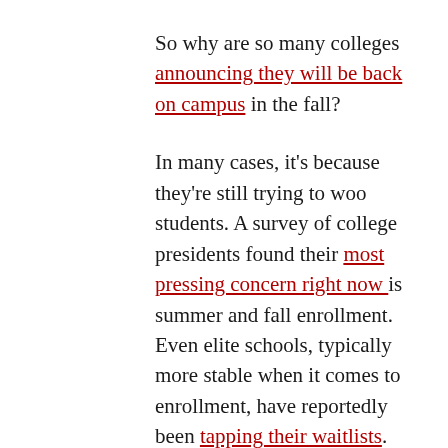So why are so many colleges announcing they will be back on campus in the fall?
In many cases, it's because they're still trying to woo students. A survey of college presidents found their most pressing concern right now is summer and fall enrollment. Even elite schools, typically more stable when it comes to enrollment, have reportedly been tapping their waitlists.
In the midst of all this uncertainty, it's worth looking at some of the ideas out there. With the help of Joshua Kim and Edward J. Maloney, professors and authors of the book Learning Innovation and the Future of Higher Education, here